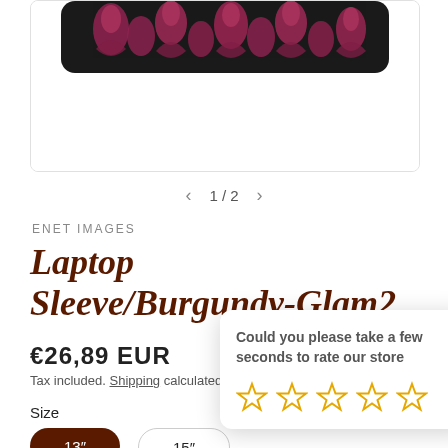[Figure (photo): Product photo of a laptop sleeve with burgundy/pink floral pattern on black background, partially visible at top]
1 / 2
ENET IMAGES
Laptop Sleeve/Burgundy-Glam2
€26,89 EUR
Tax included. Shipping calculated at checkout.
Size
13"
15"
Could you please take a few seconds to rate our store
[Figure (other): Five empty gold star rating icons in a row]